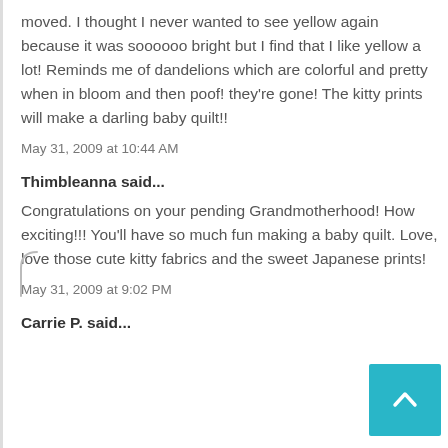moved. I thought I never wanted to see yellow again because it was soooooo bright but I find that I like yellow a lot! Reminds me of dandelions which are colorful and pretty when in bloom and then poof! they're gone! The kitty prints will make a darling baby quilt!!
May 31, 2009 at 10:44 AM
Thimbleanna said...
Congratulations on your pending Grandmotherhood! How exciting!!! You'll have so much fun making a baby quilt. Love, love those cute kitty fabrics and the sweet Japanese prints!
May 31, 2009 at 9:02 PM
Carrie P. said...